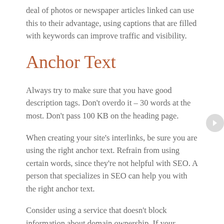deal of photos or newspaper articles linked can use this to their advantage, using captions that are filled with keywords can improve traffic and visibility.
Anchor Text
Always try to make sure that you have good description tags. Don't overdo it – 30 words at the most. Don't pass 100 KB on the heading page.
When creating your site's interlinks, be sure you are using the right anchor text. Refrain from using certain words, since they're not helpful with SEO. A person that specializes in SEO can help you with the right anchor text.
Consider using a service that doesn't block information about domain ownership. If your domain is registered with Google, it could block your site and your domain name.